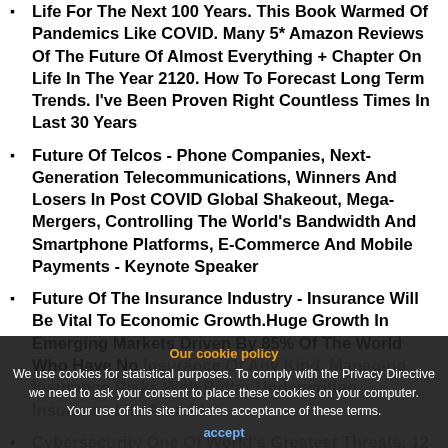Life For The Next 100 Years. This Book Warmed Of Pandemics Like COVID. Many 5* Amazon Reviews Of The Future Of Almost Everything + Chapter On Life In The Year 2120. How To Forecast Long Term Trends. I've Been Proven Right Countless Times In Last 30 Years
Future Of Telcos - Phone Companies, Next-Generation Telecommunications, Winners And Losers In Post COVID Global Shakeout, Mega-Mergers, Controlling The World's Bandwidth And Smartphone Platforms, E-Commerce And Mobile Payments - Keynote Speaker
Future Of The Insurance Industry - Insurance Will Be Vital To Economic Growth.Huge Growth In Emerging Markets Driven By 85% Of The World Who Have No Insurance Of Any Kind. Managing Insurance Risks With Better Underwriting. Insurance Life Annuities.
Cybersecurity One Of World's Greatest Threats. 12 Steps For Every Business And Government. Cybercrime Will Cost >$5 Trillion A Year By 2025. How To Stop Hacking, Ransomware Attacks, Data Loss, IP
Our cookie policy
We use cookies for statistical purposes. To comply with the Privacy Directive we need to ask your consent to place these cookies on your computer.
Your use of this site indicates acceptance of these terms.